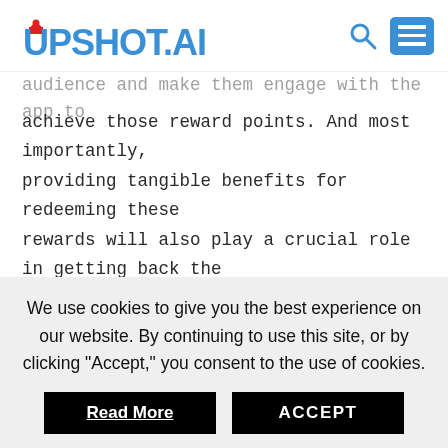UPSHOT.AI
audience and make them engage with the app to achieve those reward points. And most importantly, providing tangible benefits for redeeming these rewards will also play a crucial role in getting back the users to the app, essentially making them daily active users.
To attract new customers, most companies will also
We use cookies to give you the best experience on our website. By continuing to use this site, or by clicking "Accept," you consent to the use of cookies.
Read More   ACCEPT